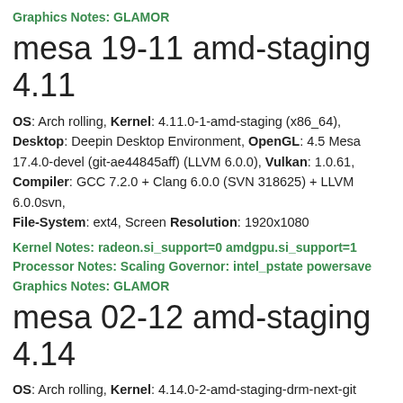Graphics Notes: GLAMOR
mesa 19-11 amd-staging 4.11
OS: Arch rolling, Kernel: 4.11.0-1-amd-staging (x86_64), Desktop: Deepin Desktop Environment, OpenGL: 4.5 Mesa 17.4.0-devel (git-ae44845aff) (LLVM 6.0.0), Vulkan: 1.0.61, Compiler: GCC 7.2.0 + Clang 6.0.0 (SVN 318625) + LLVM 6.0.0svn, File-System: ext4, Screen Resolution: 1920x1080
Kernel Notes: radeon.si_support=0 amdgpu.si_support=1
Processor Notes: Scaling Governor: intel_pstate powersave
Graphics Notes: GLAMOR
mesa 02-12 amd-staging 4.14
OS: Arch rolling, Kernel: 4.14.0-2-amd-staging-drm-next-git (x86_64), Desktop: Deepin Desktop Environment, OpenGL: 4.5 Mesa 17.4.0-devel (git-fc033742d2) (LLVM 6.0.0), Vulkan: 1.0.61, Compiler: GCC 7.2.1 20171128 + Clang 6.0.0 (SVN 319529) +